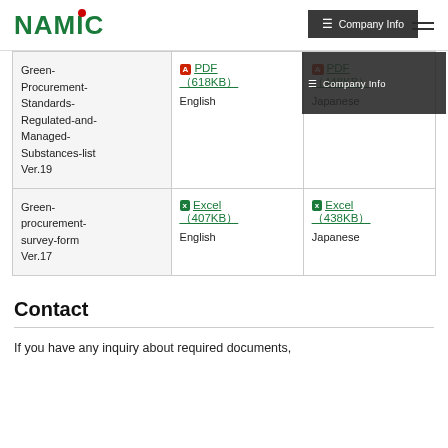NAMICS
| Document | English | Japanese |
| --- | --- | --- |
| Green-Procurement-Standards-Regulated-and-Managed-Substances-list Ver.19 | PDF (618KB)
English | PDF (448KB)
Japanese |
| Green-procurement-survey-form Ver.17 | Excel (407KB)
English | Excel (438KB)
Japanese |
Contact
If you have any inquiry about required documents,